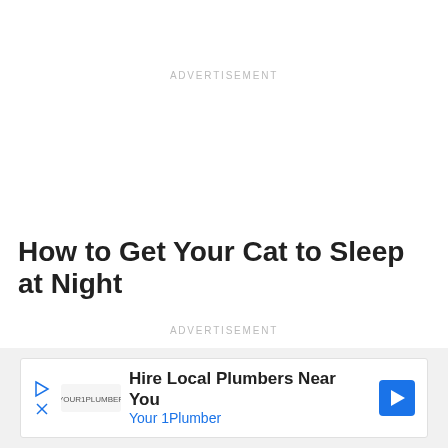ADVERTISEMENT
How to Get Your Cat to Sleep at Night
ADVERTISEMENT
[Figure (other): Advertisement banner: Hire Local Plumbers Near You — Your 1Plumber, with arrow icon]